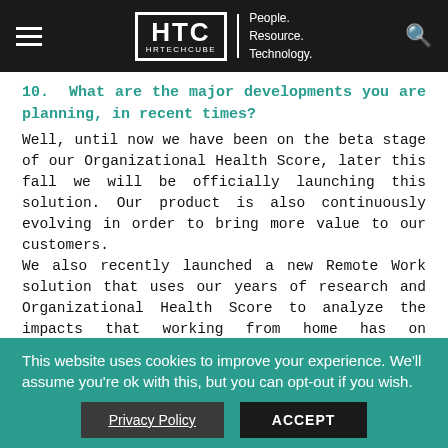HTC HRTECHCUBE | People. Resource. Technology.
10. What are the major developments you are planning, in recent times?
Well, until now we have been on the beta stage of our Organizational Health Score, later this fall we will be officially launching this solution. Our product is also continuously evolving in order to bring more value to our customers. We also recently launched a new Remote Work solution that uses our years of research and Organizational Health Score to analyze the impacts that working from home has on workplace, HR, and digital transformation initiatives, with the goal of improving organizational effectiveness.
11. Can you tell us about your team and how it
This website uses cookies to improve your experience. We'll assume you're ok with this, but you can opt-out if you wish.
Privacy Policy   ACCEPT